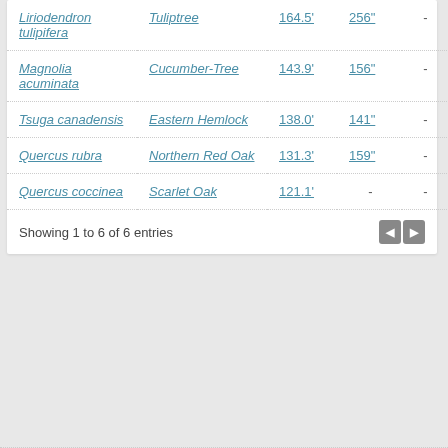| Scientific Name | Common Name | Height | Circumference | Crown |
| --- | --- | --- | --- | --- |
| Liriodendron tulipifera | Tuliptree | 164.5' | 256" | - |
| Magnolia acuminata | Cucumber-Tree | 143.9' | 156" | - |
| Tsuga canadensis | Eastern Hemlock | 138.0' | 141" | - |
| Quercus rubra | Northern Red Oak | 131.3' | 159" | - |
| Quercus coccinea | Scarlet Oak | 121.1' | - | - |
Showing 1 to 6 of 6 entries